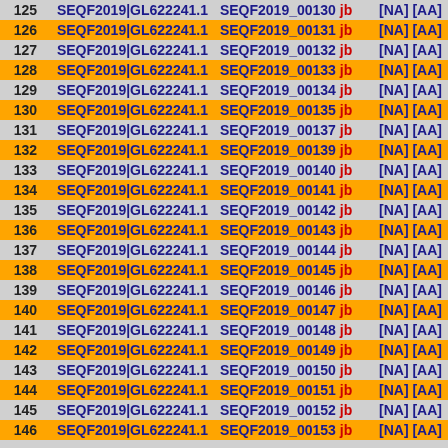| # | Sequence ID | Sequence Name | Links |
| --- | --- | --- | --- |
| 125 | SEQF2019|GL622241.1 | SEQF2019_00130 jb | [NA] [AA] |
| 126 | SEQF2019|GL622241.1 | SEQF2019_00131 jb | [NA] [AA] |
| 127 | SEQF2019|GL622241.1 | SEQF2019_00132 jb | [NA] [AA] |
| 128 | SEQF2019|GL622241.1 | SEQF2019_00133 jb | [NA] [AA] |
| 129 | SEQF2019|GL622241.1 | SEQF2019_00134 jb | [NA] [AA] |
| 130 | SEQF2019|GL622241.1 | SEQF2019_00135 jb | [NA] [AA] |
| 131 | SEQF2019|GL622241.1 | SEQF2019_00137 jb | [NA] [AA] |
| 132 | SEQF2019|GL622241.1 | SEQF2019_00139 jb | [NA] [AA] |
| 133 | SEQF2019|GL622241.1 | SEQF2019_00140 jb | [NA] [AA] |
| 134 | SEQF2019|GL622241.1 | SEQF2019_00141 jb | [NA] [AA] |
| 135 | SEQF2019|GL622241.1 | SEQF2019_00142 jb | [NA] [AA] |
| 136 | SEQF2019|GL622241.1 | SEQF2019_00143 jb | [NA] [AA] |
| 137 | SEQF2019|GL622241.1 | SEQF2019_00144 jb | [NA] [AA] |
| 138 | SEQF2019|GL622241.1 | SEQF2019_00145 jb | [NA] [AA] |
| 139 | SEQF2019|GL622241.1 | SEQF2019_00146 jb | [NA] [AA] |
| 140 | SEQF2019|GL622241.1 | SEQF2019_00147 jb | [NA] [AA] |
| 141 | SEQF2019|GL622241.1 | SEQF2019_00148 jb | [NA] [AA] |
| 142 | SEQF2019|GL622241.1 | SEQF2019_00149 jb | [NA] [AA] |
| 143 | SEQF2019|GL622241.1 | SEQF2019_00150 jb | [NA] [AA] |
| 144 | SEQF2019|GL622241.1 | SEQF2019_00151 jb | [NA] [AA] |
| 145 | SEQF2019|GL622241.1 | SEQF2019_00152 jb | [NA] [AA] |
| 146 | SEQF2019|GL622241.1 | SEQF2019_00153 jb | [NA] [AA] |